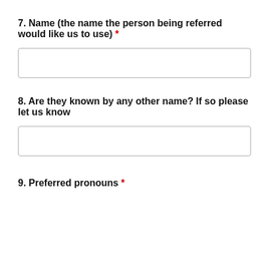7. Name (the name the person being referred would like us to use) *
[Figure (other): Empty text input box for question 7]
8. Are they known by any other name? If so please let us know
[Figure (other): Empty text input box for question 8]
9. Preferred pronouns *